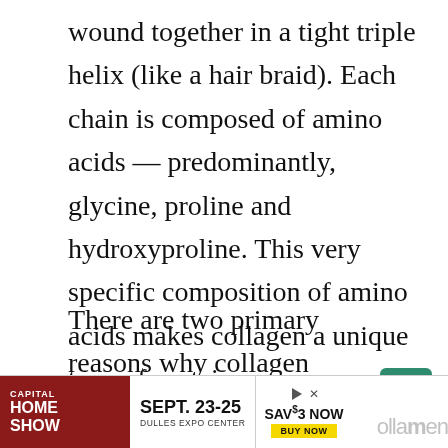wound together in a tight triple helix (like a hair braid). Each chain is composed of amino acids — predominantly, glycine, proline and hydroxyproline. This very specific composition of amino acids makes collagen a unique type of protein.
There are two primary reasons why collagen nutrition can be beneficial. First and foremost, the body becomes less efficient at producing collagen as we age.
[Figure (other): Green scroll-to-top button with upward caret arrow]
[Figure (infographic): Capital Home Show advertisement banner: SEPT. 23-25, DULLES EXPO CENTER, SAVE $3 NOW BUY NOW]